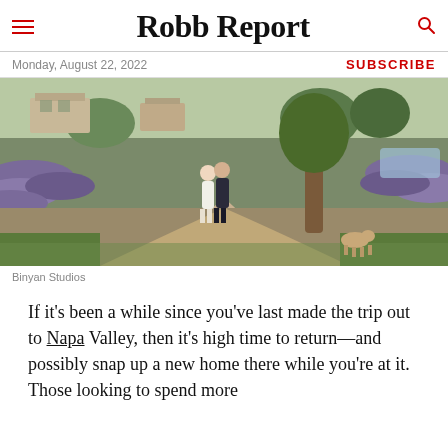Robb Report
Monday, August 22, 2022
SUBSCRIBE
[Figure (photo): A couple walking through lavender garden paths with buildings and trees in background, and a dog in the foreground]
Binyan Studios
If it's been a while since you've last made the trip out to Napa Valley, then it's high time to return—and possibly snap up a new home there while you're at it. Those looking to spend more